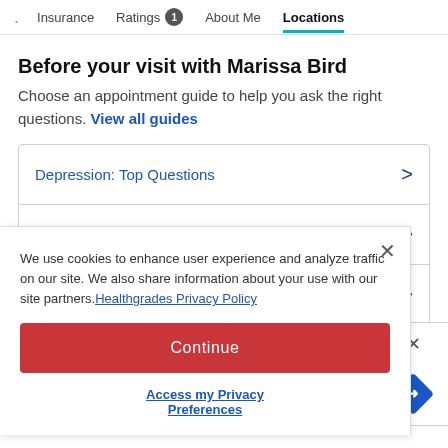Insurance   Ratings 1   About Me   Locations
Before your visit with Marissa Bird
Choose an appointment guide to help you ask the right questions. View all guides
Depression: Top Questions
Bipolar Disorder: Top Questions
We use cookies to enhance user experience and analyze traffic on our site. We also share information about your use with our site partners. Healthgrades Privacy Policy
Continue
Access my Privacy Preferences